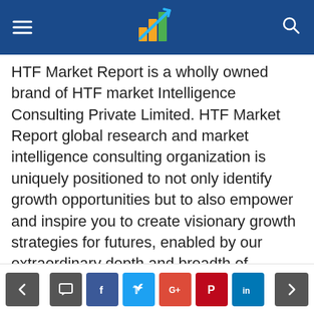HTF Market Report header with logo
HTF Market Report is a wholly owned brand of HTF market Intelligence Consulting Private Limited. HTF Market Report global research and market intelligence consulting organization is uniquely positioned to not only identify growth opportunities but to also empower and inspire you to create visionary growth strategies for futures, enabled by our extraordinary depth and breadth of thought leadership, research, tools, events and experience that assist you for making goals into a reality. Our understanding of the interplay between industry convergence, Mega Trends, technologies and market trends provides our clients with new business models and expansion opportunities. We are focused on identifying the “Accurate Forecast”
Navigation and social share buttons: prev, comment, facebook, twitter, google+, pinterest, linkedin, next